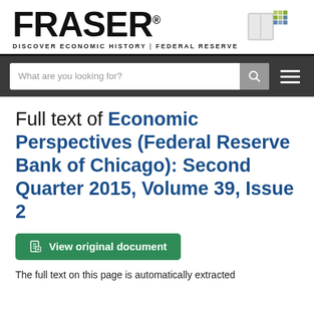[Figure (logo): FRASER logo with book/grid icon and tagline: DISCOVER ECONOMIC HISTORY | FEDERAL RESERVE]
[Figure (screenshot): Navigation bar with search input placeholder 'What are you looking for?', search icon button, and hamburger menu icon]
Full text of Economic Perspectives (Federal Reserve Bank of Chicago): Second Quarter 2015, Volume 39, Issue 2
View original document
The full text on this page is automatically extracted